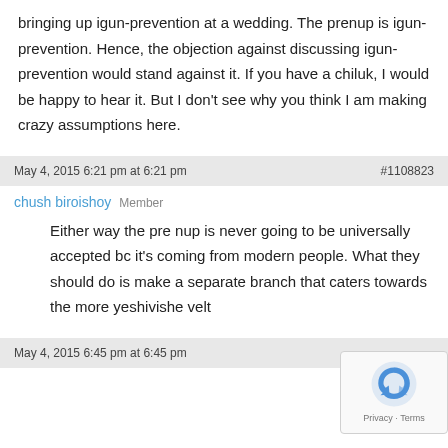bringing up igun-prevention at a wedding. The prenup is igun-prevention. Hence, the objection against discussing igun-prevention would stand against it. If you have a chiluk, I would be happy to hear it. But I don't see why you think I am making crazy assumptions here.
May 4, 2015 6:21 pm at 6:21 pm    #1108823
chush biroishoy  Member
Either way the pre nup is never going to be universally accepted bc it's coming from modern people. What they should do is make a separate branch that caters towards the more yeshivishe velt
May 4, 2015 6:45 pm at 6:45 pm